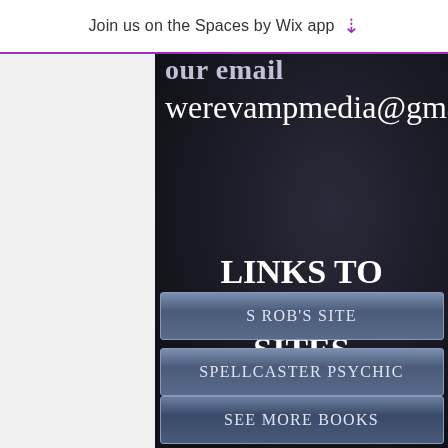Join us on the Spaces by Wix app
our email
werevampmedia@gmail.com
LINKS TO INTERESTING SITES
S ROB'S SITE
SPELLCASTER PSYCHIC
SEE MORE BOOKS